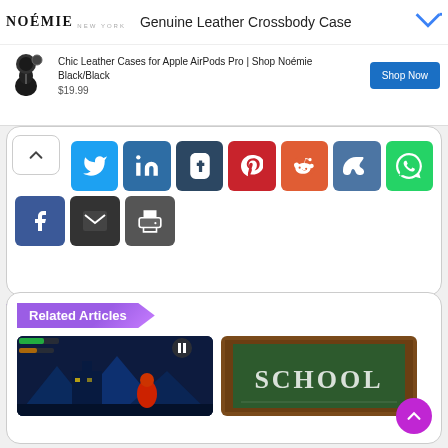[Figure (screenshot): Noémie advertisement banner for Genuine Leather Crossbody Case with AirPods case product at $19.99 and Shop Now button]
[Figure (infographic): Social share button panel with Facebook, Twitter, LinkedIn, Tumblr, Pinterest, Reddit, VK, WhatsApp, Email, and Print buttons]
Related Articles
[Figure (screenshot): Game screenshot showing a dark fantasy/action scene]
[Figure (screenshot): Chalkboard image with the word SCHOOL written in chalk]